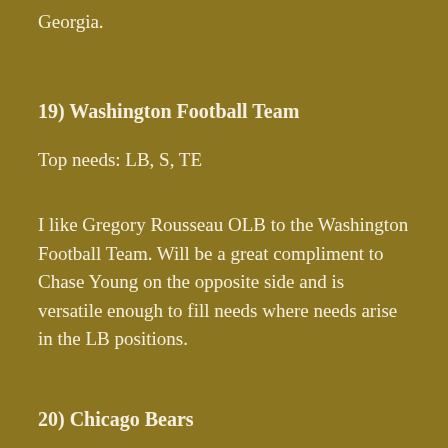Georgia.
19) Washington Football Team
Top needs: LB, S, TE
I like Gregory Rousseau OLB to the Washington Football Team. Will be a great compliment to Chase Young on the opposite side and is versatile enough to fill needs where needs arise in the LB positions.
20) Chicago Bears
Top needs: QB, CB, WR
The Bears really didn't have the draft capital ammo